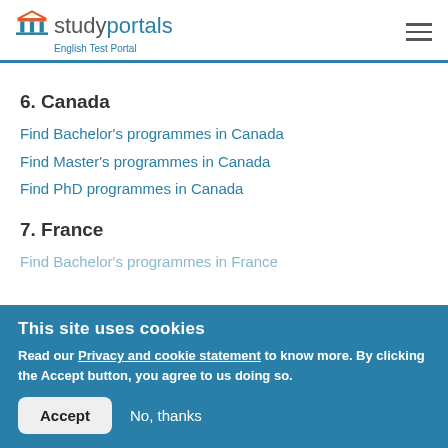studyportals - English Test Portal
6. Canada
Find Bachelor's programmes in Canada
Find Master's programmes in Canada
Find PhD programmes in Canada
7. France
Find Bachelor's programmes in France
This site uses cookies
Read our Privacy and cookie statement to know more. By clicking the Accept button, you agree to us doing so.
Accept   No, thanks